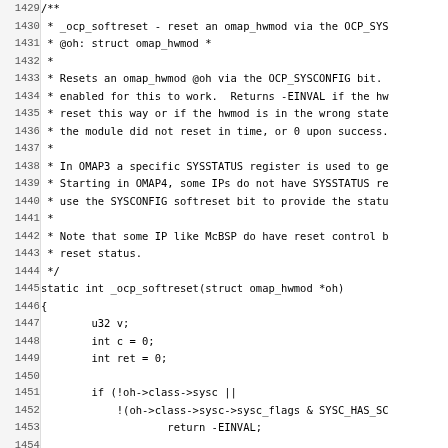[Figure (screenshot): Source code listing in C showing lines 1429-1461, featuring the _ocp_softreset function with a block comment describing its purpose and behavior, followed by the static int function definition with local variables, conditional checks for sysc flags, HWMOD state, and a pr_warning call.]